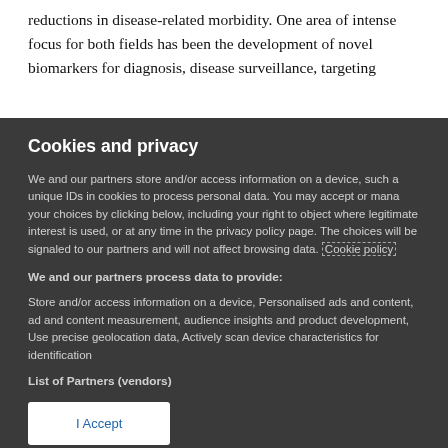reductions in disease-related morbidity. One area of intense focus for both fields has been the development of novel biomarkers for diagnosis, disease surveillance, targeting
Cookies and privacy
We and our partners store and/or access information on a device, such as unique IDs in cookies to process personal data. You may accept or manage your choices by clicking below, including your right to object where legitimate interest is used, or at any time in the privacy policy page. These choices will be signaled to our partners and will not affect browsing data. Cookie policy
We and our partners process data to provide:
Store and/or access information on a device, Personalised ads and content, ad and content measurement, audience insights and product development, Use precise geolocation data, Actively scan device characteristics for identification
List of Partners (vendors)
I Accept